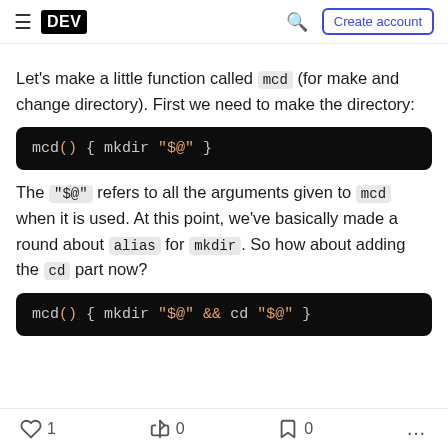DEV | Create account
Let's make a little function called mcd (for make and change directory). First we need to make the directory:
[Figure (screenshot): Code block showing: mcd() { mkdir "$@" }]
The "$@" refers to all the arguments given to mcd when it is used. At this point, we've basically made a round about alias for mkdir. So how about adding the cd part now?
[Figure (screenshot): Code block showing: mcd() { mkdir "$@" && cd "$@" }]
1  0  0  ...